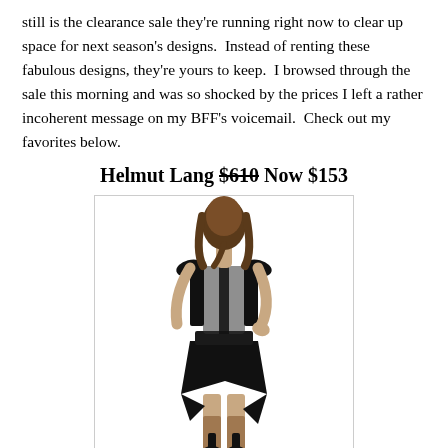still is the clearance sale they're running right now to clear up space for next season's designs.  Instead of renting these fabulous designs, they're yours to keep.  I browsed through the sale this morning and was so shocked by the prices I left a rather incoherent message on my BFF's voicemail.  Check out my favorites below.
Helmut Lang $610 Now $153
[Figure (photo): A woman wearing a black dress with a sheer back panel and asymmetric hemline, photographed from behind, wearing black heels.]